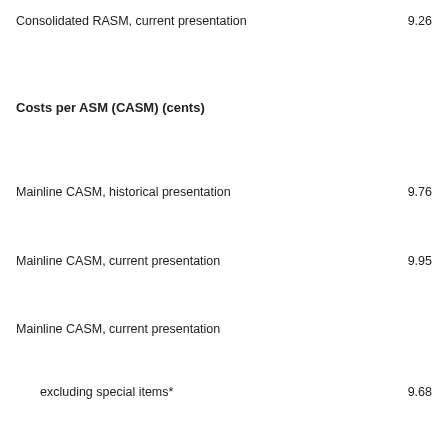Consolidated RASM, current presentation	9.26
Costs per ASM (CASM) (cents)
Mainline CASM, historical presentation	9.76
Mainline CASM, current presentation	9.95
Mainline CASM, current presentation
excluding special items*	9.68